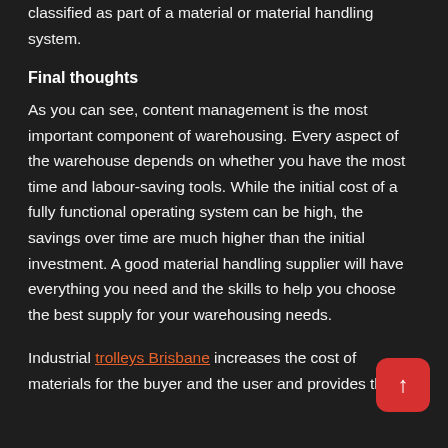classified as part of a material or material handling system.
Final thoughts
As you can see, content management is the most important component of warehousing. Every aspect of the warehouse depends on whether you have the most time and labour-saving tools. While the initial cost of a fully functional operating system can be high, the savings over time are much higher than the initial investment. A good material handling supplier will have everything you need and the skills to help you choose the best supply for your warehousing needs.
Industrial trolleys Brisbane increases the cost of materials for the buyer and the user and provides the